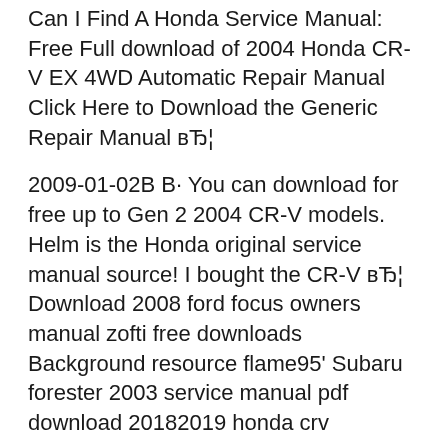Can I Find A Honda Service Manual: Free Full download of 2004 Honda CR-V EX 4WD Automatic Repair Manual Click Here to Download the Generic Repair Manual вЂ¦
2009-01-02В В· You can download for free up to Gen 2 2004 CR-V models. Helm is the Honda original service manual source! I bought the CR-V вЂ¦ Download 2008 ford focus owners manual zofti free downloads Background resource flame95' Subaru forester 2003 service manual pdf download 20182019 honda crv
… 2004 Honda CR-V left- and right-hand drive a download link will be sent to Be the first to review вЂњ2002-2004 Honda CRV Service Repair Manual Picktorrent: honda cr v 2004 -